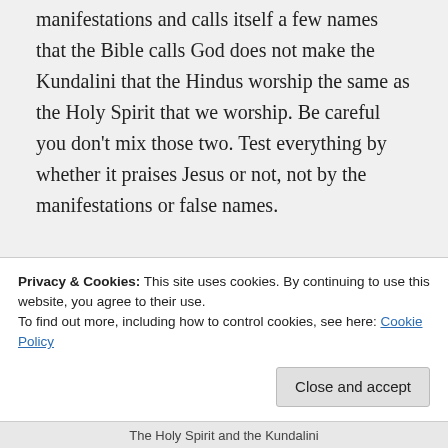manifestations and calls itself a few names that the Bible calls God does not make the Kundalini that the Hindus worship the same as the Holy Spirit that we worship. Be careful you don't mix those two. Test everything by whether it praises Jesus or not, not by the manifestations or false names.
↳ Reply
Privacy & Cookies: This site uses cookies. By continuing to use this website, you agree to their use. To find out more, including how to control cookies, see here: Cookie Policy
The Holy Spirit and the Kundalini